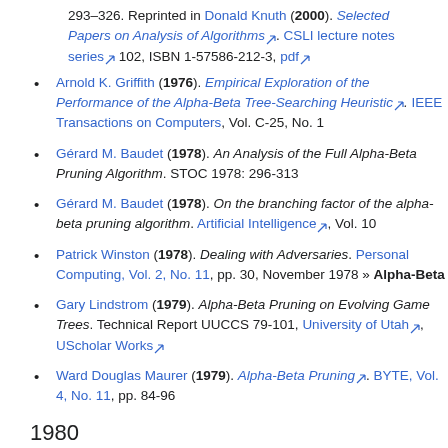293–326. Reprinted in Donald Knuth (2000). Selected Papers on Analysis of Algorithms. CSLI lecture notes series 102, ISBN 1-57586-212-3, pdf
Arnold K. Griffith (1976). Empirical Exploration of the Performance of the Alpha-Beta Tree-Searching Heuristic. IEEE Transactions on Computers, Vol. C-25, No. 1
Gérard M. Baudet (1978). An Analysis of the Full Alpha-Beta Pruning Algorithm. STOC 1978: 296-313
Gérard M. Baudet (1978). On the branching factor of the alpha-beta pruning algorithm. Artificial Intelligence, Vol. 10
Patrick Winston (1978). Dealing with Adversaries. Personal Computing, Vol. 2, No. 11, pp. 30, November 1978 » Alpha-Beta
Gary Lindstrom (1979). Alpha-Beta Pruning on Evolving Game Trees. Technical Report UUCCS 79-101, University of Utah, UScholar Works
Ward Douglas Maurer (1979). Alpha-Beta Pruning. BYTE, Vol. 4, No. 11, pp. 84-96
1980